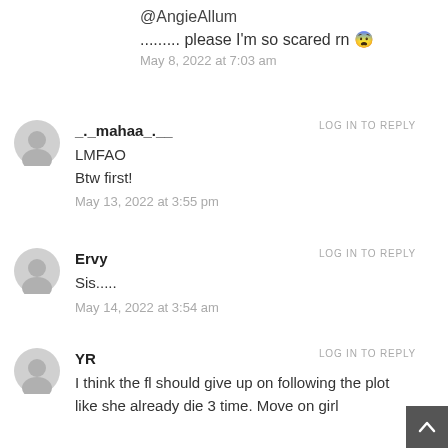@AngieAllum
......... please I'm so scared rn 😰
May 8, 2022 at 7:03 am
_._ mahaa_._ _
LOG IN TO REPLY
LMFAO
Btw first!
May 13, 2022 at 3:55 pm
Ervy
LOG IN TO REPLY
Sis.....
May 14, 2022 at 3:54 am
YR
LOG IN TO REPLY
I think the fl should give up on following the plot like she already die 3 time. Move on girl